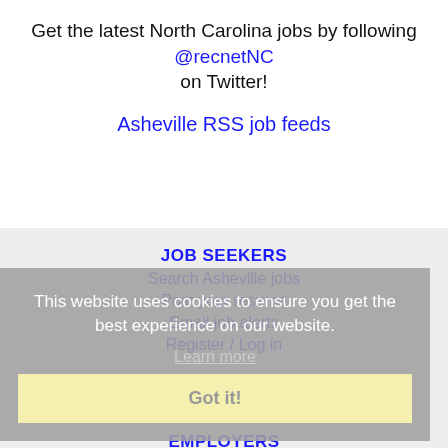Get the latest North Carolina jobs by following @recnetNC on Twitter!
Asheville RSS job feeds
JOB SEEKERS
Search Asheville jobs
Post your resume
Email job alerts
Register / Log in
This website uses cookies to ensure you get the best experience on our website.
Learn more
Got it!
EMPLOYERS
Post jobs